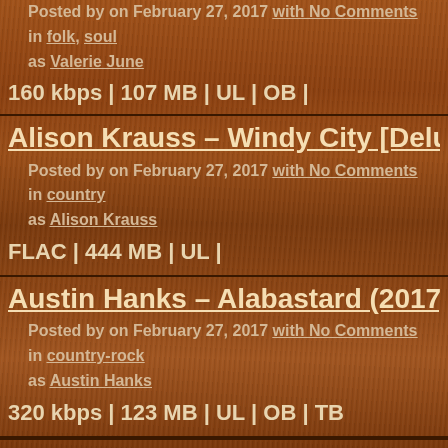Posted by on February 27, 2017 with No Comments in folk, soul as Valerie June
160 kbps | 107 MB | UL | OB |
Alison Krauss – Windy City [Deluxe Edition]
Posted by on February 27, 2017 with No Comments in country as Alison Krauss
FLAC | 444 MB | UL |
Austin Hanks – Alabastard (2017)
Posted by on February 27, 2017 with No Comments in country-rock as Austin Hanks
320 kbps | 123 MB | UL | OB | TB
Matt Winson – Woodfalls (2017)